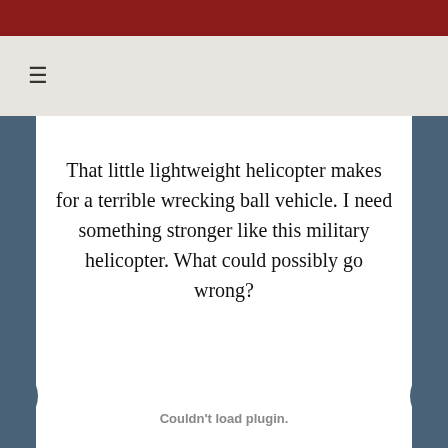That little lightweight helicopter makes for a terrible wrecking ball vehicle. I need something stronger like this military helicopter. What could possibly go wrong?
Couldn't load plugin.